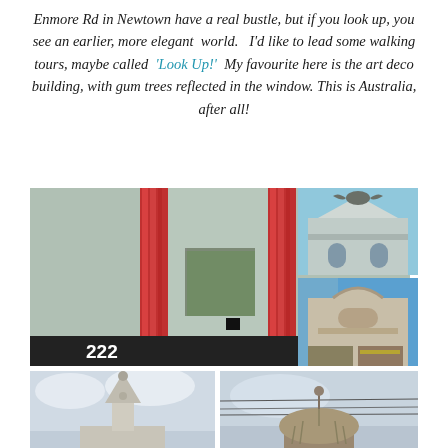Enmore Rd in Newtown have a real bustle, but if you look up, you see an earlier, more elegant world. I'd like to lead some walking tours, maybe called 'Look Up!' My favourite here is the art deco building, with gum trees reflected in the window. This is Australia, after all!
[Figure (photo): Art deco building facade with large red vertical stripes/columns on light green-grey surface, window reflecting gum trees, dark awning below with number 222]
[Figure (photo): Top of an ornate classical building with eagle sculpture on pediment against blue sky]
[Figure (photo): Ornate building facade with decorative arched pediment and blue sky background]
[Figure (photo): Church or building with ornate spire/finial against cloudy sky]
[Figure (photo): Ornate dome or cupola structure on top of building with power lines against sky]